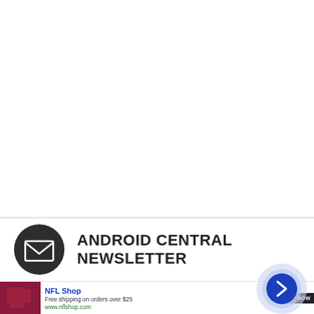[Figure (infographic): Android Central Newsletter section with envelope icon and bold text reading ANDROID CENTRAL NEWSLETTER]
[Figure (infographic): NFL Shop advertisement banner with dark red product image, NFL Shop title, free shipping text, shop now button, and circular arrow navigation button]